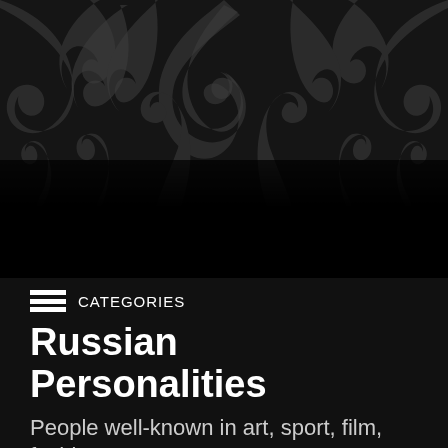[Figure (illustration): Dark decorative floral/scroll pattern banner with dark grey swirling foliage on black background]
CATEGORIES
Russian Personalities
People well-known in art, sport, film, fashion